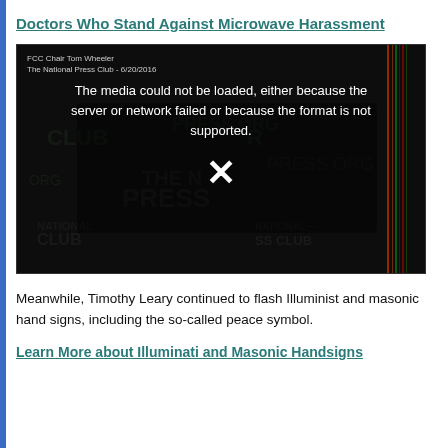Doctors Who Stand Against Microwave Harassment
[Figure (screenshot): Video player showing an error message: 'The media could not be loaded, either because the server or network failed or because the format is not supported.' with an X icon. Background shows a dark image of FCC Chair Tom Wheeler at The National Press Club - 6/20/2016.]
Meanwhile, Timothy Leary continued to flash Illuminist and masonic hand signs, including the so-called peace symbol.
Learn More about Illuminati and Masonic Handsigns